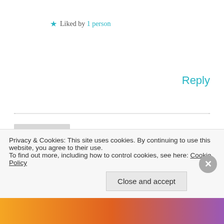★ Liked by 1 person
Reply
Haylee on August 3, 2016 at 8:32 pm
Dammit, I thought I was on to a winner with the box sets! 😉 I look forward to checking out the other winners/nominees, I enjoyed that they were
Privacy & Cookies: This site uses cookies. By continuing to use this website, you agree to their use. To find out more, including how to control cookies, see here: Cookie Policy
Close and accept